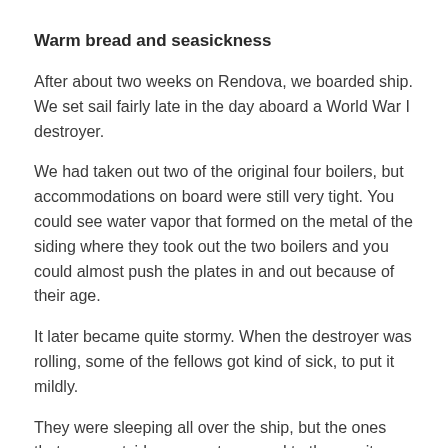Warm bread and seasickness
After about two weeks on Rendova, we boarded ship. We set sail fairly late in the day aboard a World War I destroyer.
We had taken out two of the original four boilers, but accommodations on board were still very tight. You could see water vapor that formed on the metal of the siding where they took out the two boilers and you could almost push the plates in and out because of their age.
It later became quite stormy. When the destroyer was rolling, some of the fellows got kind of sick, to put it mildly.
They were sleeping all over the ship, but the ones that were outside were not exposed to the vomit.